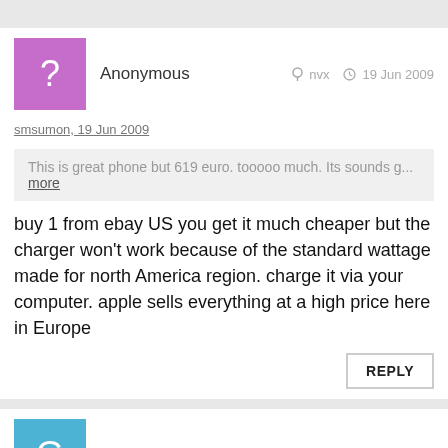Anonymous   nvx   19 Jun 2009
smsumon, 19 Jun 2009
This is great phone but 619 euro. tooooo much. Its sounds g... more
buy 1 from ebay US you get it much cheaper but the charger won't work because of the standard wattage made for north America region. charge it via your computer. apple sells everything at a high price here in Europe
REPLY
GVK   ijJ   19 Jun 2009
If you are yet undecided whether it is worth spending that kind of money on an upgrade or whether it's a good time to jump on the